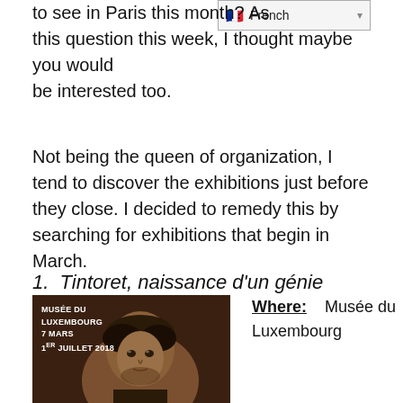to see in Paris this month? As this question this week, I thought maybe you would be interested too.
Not being the queen of organization, I tend to discover the exhibitions just before they close. I decided to remedy this by searching for exhibitions that begin in March.
1.  Tintoret, naissance d'un génie
[Figure (photo): Exhibition poster for Musée du Luxembourg showing a dark portrait painting of a man with curly hair. Text overlay reads: MUSÉE DU LUXEMBOURG, 7 MARS, 1er JUILLET 2018]
Where:   Musée du Luxembourg